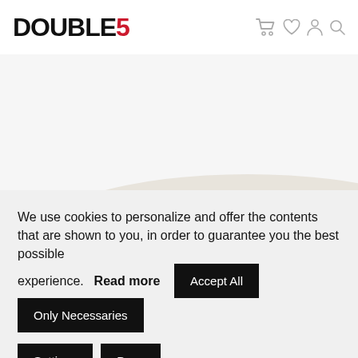DOUBLE5
[Figure (photo): Top portion of a white/cream sneaker with dark sole on a white background, partially cropped at top]
We use cookies to personalize and offer the contents that are shown to you, in order to guarantee you the best possible experience. Read more
Accept All | Only Necessaries | Settings | Deny